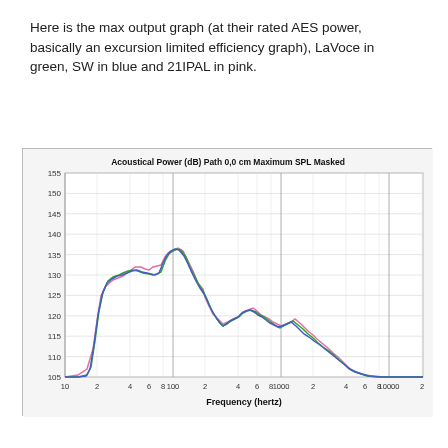Here is the max output graph (at their rated AES power, basically an excursion limited efficiency graph), LaVoce in green, SW in blue and 21IPAL in pink.
[Figure (continuous-plot): Multi-line frequency response chart showing Acoustical Power (dB) vs Frequency (hertz) for three speakers: LaVoce (green), SW (blue), and 21IPAL (pink). Title: 'Acoustical Power (dB) Path 0,0 cm Maximum SPL Masked'. Y-axis ranges from 105 to 155 dB in increments of 5. X-axis shows frequency from 10 to 10000+ Hz on log scale. All three traces rise from low frequencies, peak around 100-200 Hz near 140 dB, then decline with oscillating peaks at higher frequencies.]